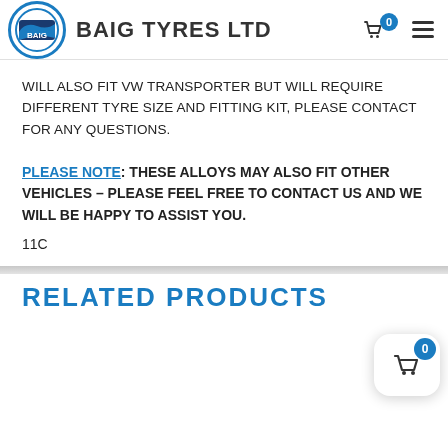BAIG TYRES LTD
WILL ALSO FIT VW TRANSPORTER BUT WILL REQUIRE DIFFERENT TYRE SIZE AND FITTING KIT, PLEASE CONTACT FOR ANY QUESTIONS.
PLEASE NOTE: THESE ALLOYS MAY ALSO FIT OTHER VEHICLES – PLEASE FEEL FREE TO CONTACT US AND WE WILL BE HAPPY TO ASSIST YOU.
11C
RELATED PRODUCTS